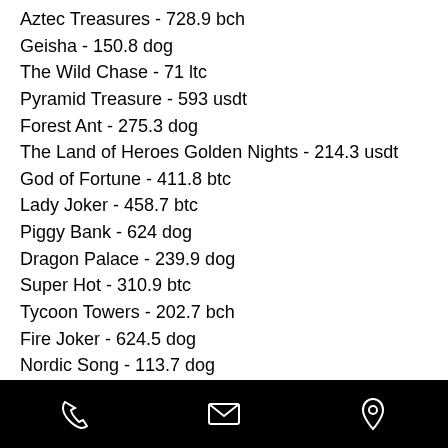Aztec Treasures - 728.9 bch
Geisha - 150.8 dog
The Wild Chase - 71 ltc
Pyramid Treasure - 593 usdt
Forest Ant - 275.3 dog
The Land of Heroes Golden Nights - 214.3 usdt
God of Fortune - 411.8 btc
Lady Joker - 458.7 btc
Piggy Bank - 624 dog
Dragon Palace - 239.9 dog
Super Hot - 310.9 btc
Tycoon Towers - 202.7 bch
Fire Joker - 624.5 dog
Nordic Song - 113.7 dog
Energy Fruits - 154.1 usdt
Best Slots Games:
[Figure (other): Mobile app bottom navigation bar with phone, email, and location icons on black background]